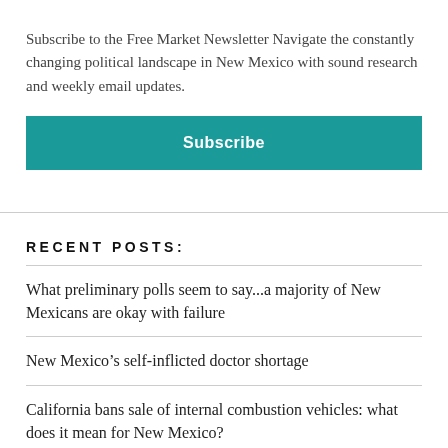Subscribe to the Free Market Newsletter Navigate the constantly changing political landscape in New Mexico with sound research and weekly email updates.
Subscribe
RECENT POSTS:
What preliminary polls seem to say...a majority of New Mexicans are okay with failure
New Mexico’s self-inflicted doctor shortage
California bans sale of internal combustion vehicles: what does it mean for New Mexico?